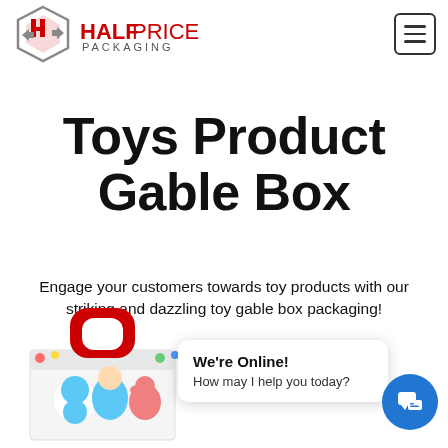Half Price Packaging
Toys Product Gable Box
Engage your customers towards toy products with our striking and dazzling toy gable box packaging!
[Figure (photo): Colorful toy gable box with cartoon characters (Pocoyo) on white background with red handle]
We're Online! How may I help you today?